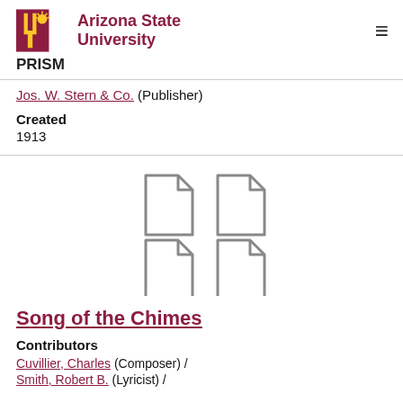ASU Arizona State University | PRISM
Jos. W. Stern & Co. (Publisher)
Created
1913
[Figure (illustration): Four document/file icons arranged in a 2x2 grid, shown in gray outline style]
Song of the Chimes
Contributors
Cuvillier, Charles (Composer) /
Smith, Robert B. (Lyricist) /